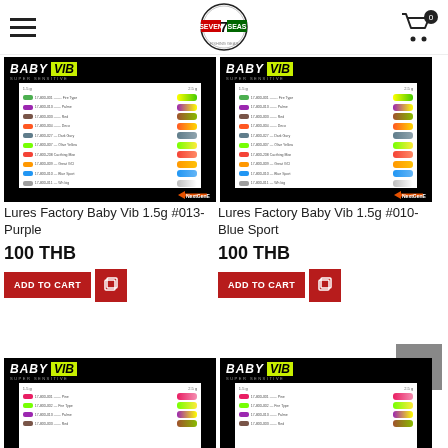Seven Seas - navigation header with logo and cart
[Figure (photo): Lures Factory Baby Vib 1.5g product image showing lure color chart on black background]
Lures Factory Baby Vib 1.5g #013-Purple
100 THB
[Figure (photo): Lures Factory Baby Vib 1.5g product image showing lure color chart on black background]
Lures Factory Baby Vib 1.5g #010-Blue Sport
100 THB
[Figure (photo): Partial product image - Baby VIB lure color chart, bottom row]
[Figure (photo): Partial product image - Baby VIB lure color chart, bottom row]